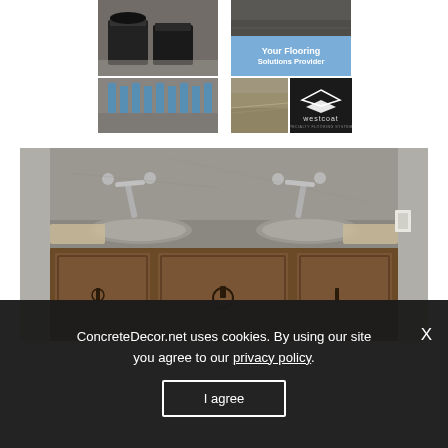[Figure (photo): Salon with dark modern chairs on concrete floor]
[Figure (photo): Dark concrete floor close-up]
[Figure (infographic): Light blue banner reading 'Your Flooring Solutions Provider']
[Figure (photo): Large hall with blue stools on polished concrete floor]
[Figure (photo): Outdoor concrete flooring]
[Figure (logo): Westcoat specialty flooring systems logo on black background]
[Figure (photo): Double concrete sink basin with vintage wood cabinet vanity and wall-mounted faucets]
ConcreteDecor.net uses cookies. By using our site you agree to our privacy policy.
I agree